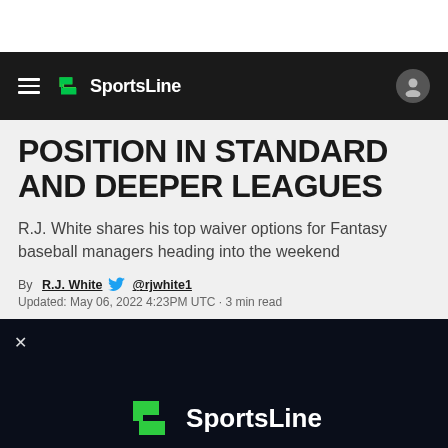SportsLine
POSITION IN STANDARD AND DEEPER LEAGUES
R.J. White shares his top waiver options for Fantasy baseball managers heading into the weekend
By R.J. White @rjwhite1
Updated: May 06, 2022 4:23PM UTC · 3 min read
[Figure (screenshot): SportsLine video player with dark background and SportsLine logo, with a close X button in the top left]